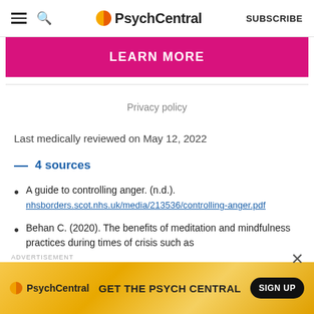PsychCentral | SUBSCRIBE
[Figure (other): LEARN MORE pink banner button]
Privacy policy
Last medically reviewed on May 12, 2022
— 4 sources
A guide to controlling anger. (n.d.). nhsborders.scot.nhs.uk/media/213536/controlling-anger.pdf
Behan C. (2020). The benefits of meditation and mindfulness practices during times of crisis such as
[Figure (screenshot): PsychCentral advertisement banner — GET THE PSYCH CENTRAL — SIGN UP]